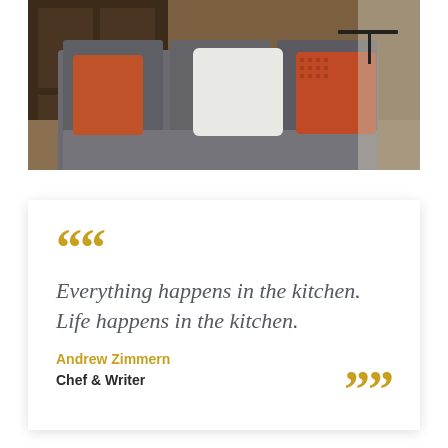[Figure (photo): Interior photo of a living room sofa with gray, orange, and white decorative pillows, wooden furniture in background]
Everything happens in the kitchen. Life happens in the kitchen.
Andrew Zimmern
Chef & Writer